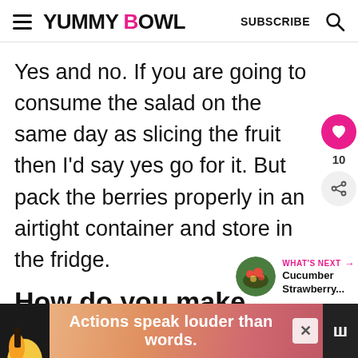YUMMY BOWL  SUBSCRIBE
Yes and no. If you are going to consume the salad on the same day as slicing the fruit then I'd say yes go for it. But pack the berries properly in an airtight container and store in the fridge.
How do you make